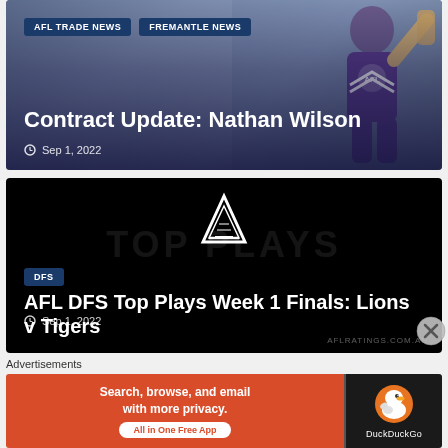[Figure (screenshot): News article card with AFL player photo in purple Fremantle jersey raising arm, with tags AFL TRADE NEWS and FREMANTLE NEWS]
Contract Update: Nathan Wilson
Sep 1, 2022
[Figure (screenshot): Black background news card with AFL Ratings logo (triangle/A shape) and TOP PLAYS watermark text. DFS tag visible.]
AFL DFS Top Plays Week 1 Finals: Lions v Tigers
Sep 1, 2022
AFLRATINGS.COM.AU
Advertisements
[Figure (screenshot): DuckDuckGo advertisement banner: orange left side with text 'Search, browse, and email with more privacy. All in One Free App', black right side with DuckDuckGo duck logo and brand name]